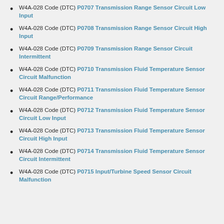W4A-028 Code (DTC) P0707 Transmission Range Sensor Circuit Low Input
W4A-028 Code (DTC) P0708 Transmission Range Sensor Circuit High Input
W4A-028 Code (DTC) P0709 Transmission Range Sensor Circuit Intermittent
W4A-028 Code (DTC) P0710 Transmission Fluid Temperature Sensor Circuit Malfunction
W4A-028 Code (DTC) P0711 Transmission Fluid Temperature Sensor Circuit Range/Performance
W4A-028 Code (DTC) P0712 Transmission Fluid Temperature Sensor Circuit Low Input
W4A-028 Code (DTC) P0713 Transmission Fluid Temperature Sensor Circuit High Input
W4A-028 Code (DTC) P0714 Transmission Fluid Temperature Sensor Circuit Intermittent
W4A-028 Code (DTC) P0715 Input/Turbine Speed Sensor Circuit Malfunction